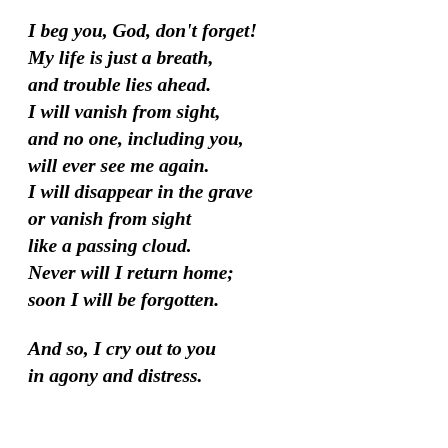I beg you, God, don't forget!
My life is just a breath,
    and trouble lies ahead.
I will vanish from sight,
and no one, including you,
    will ever see me again.
I will disappear in the grave
or vanish from sight
    like a passing cloud.
Never will I return home;
    soon I will be forgotten.

And so, I cry out to you
    in agony and distress.